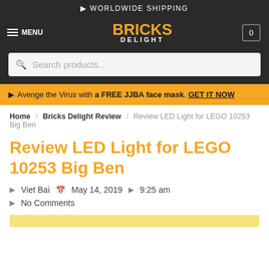🌐 WORLDWIDE SHIPPING
[Figure (logo): Bricks Delight logo with orange BRICKS text and white DELIGHT subtext]
🌐 Avenge the Virus with a FREE JJBA face mask. GET IT NOW
Home / Bricks Delight Review / Review LED Light for LEGO 10253 Big Ben
Review LED Light for LEGO 10253 Big Ben
Viet Bai   May 14, 2019   9:25 am
No Comments